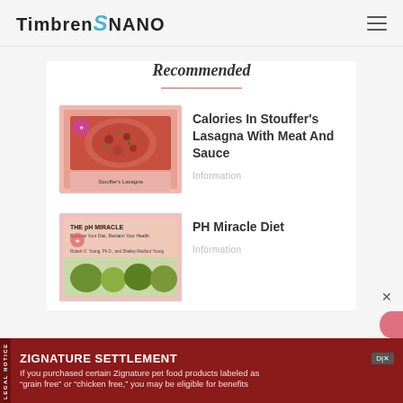Timbren NANO
Recommended
[Figure (photo): Thumbnail image of Stouffer's Lasagna package with meat and sauce]
Calories In Stouffer’s Lasagna With Meat And Sauce
Information
[Figure (photo): Thumbnail image of The pH Miracle book cover]
PH Miracle Diet
Information
LEGAL NOTICE ZIGNATURE SETTLEMENT If you purchased certain Zignature pet food products labeled as “grain free” or “chicken free,” you may be eligible for benefits